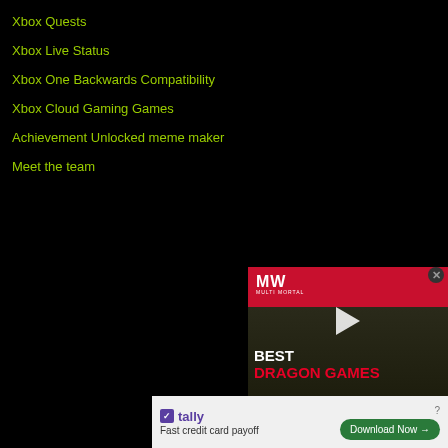Xbox Quests
Xbox Live Status
Xbox One Backwards Compatibility
Xbox Cloud Gaming Games
Achievement Unlocked meme maker
Meet the team
TrueTrophies for PlayStation
TrueSteamAchievements for PC
© 2022 TrueGaming Network Ltd, A
Terms & Conditions | Privacy Policy | Manage Cookie Settings
Advertise
[Figure (screenshot): Video ad showing 'BEST DRAGON GAMES' with MW logo in red header, play button overlay, and wolf/animal image]
[Figure (screenshot): Tally app banner ad: 'Fast credit card payoff' with Download Now button]